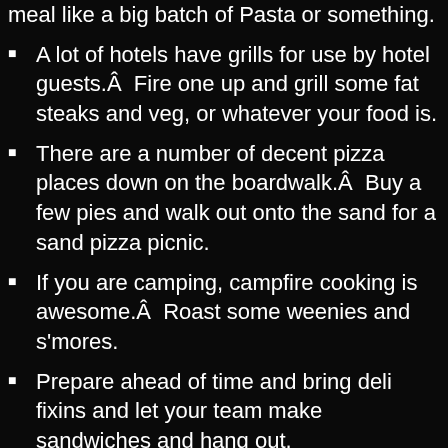meal like a big batch of Pasta or something.
A lot of hotels have grills for use by hotel guests.Â  Fire one up and grill some fat steaks and veg, or whatever your food is.
There are a number of decent pizza places down on the boardwalk.Â  Buy a few pies and walk out onto the sand for a sand pizza picnic.
If you are camping, campfire cooking is awesome.Â  Roast some weenies and s'mores.
Prepare ahead of time and bring deli fixins and let your team make sandwiches and hang out.
CHECK-IN